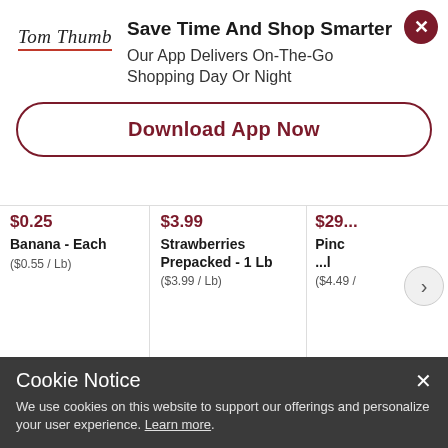[Figure (logo): Tom Thumb logo with red underline]
Save Time And Shop Smarter
Our App Delivers On-The-Go Shopping Day Or Night
Download App Now
$0.25
Banana - Each
($0.55 / Lb)
Sign in to add
$3.99
Strawberries Prepacked - 1 Lb
($3.99 / Lb)
Sign in to add
$29...
Pinc... Lb
($4.49 /
Sig
Cookie Notice
We use cookies on this website to support our offerings and personalize your user experience. Learn more.